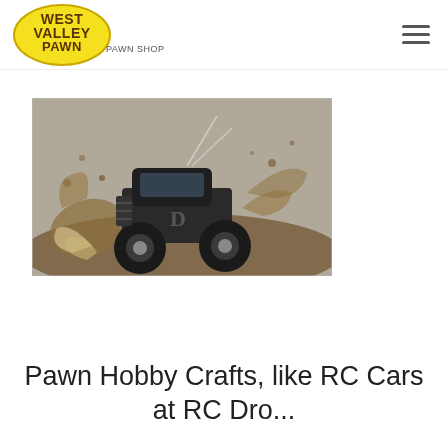West Valley Pawn – Pawn Shop
[Figure (photo): RC monster truck driving through mud splash, dramatic action shot with mud flying]
Pawn Hobby Crafts, like RC Cars at RC Drones, at West Valley...